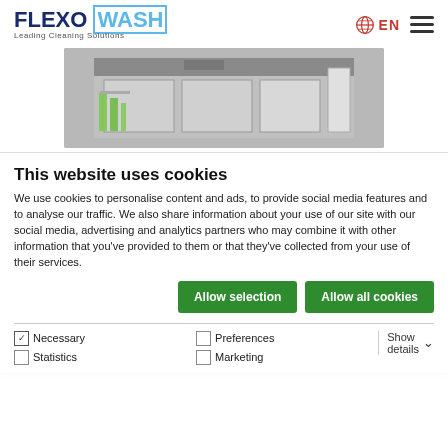[Figure (logo): Flexo Wash logo — FLEXO in dark navy bold, WASH in light blue outlined bold, with tagline 'Leading Cleaning Solutions']
[Figure (photo): Industrial cleaning machine — stainless steel unit with open compartments, green cleaning brushes visible on left side, photographed in a facility setting]
This website uses cookies
We use cookies to personalise content and ads, to provide social media features and to analyse our traffic. We also share information about your use of our site with our social media, advertising and analytics partners who may combine it with other information that you've provided to them or that they've collected from your use of their services.
Allow selection | Allow all cookies
Necessary | Preferences | Statistics | Marketing | Show details